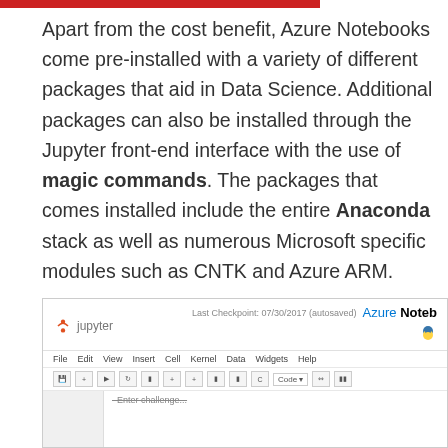Apart from the cost benefit, Azure Notebooks come pre-installed with a variety of different packages that aid in Data Science. Additional packages can also be installed through the Jupyter front-end interface with the use of magic commands. The packages that comes installed include the entire Anaconda stack as well as numerous Microsoft specific modules such as CNTK and Azure ARM.
[Figure (screenshot): Screenshot of a Jupyter Notebook interface running on Azure Notebooks, showing the Jupyter logo, checkpoint timestamp '07/30/2017 (autosaved)', Azure Notebooks branding with Python logo, a menu bar with File, Edit, View, Insert, Cell, Kernel, Data, Widgets, Help, a toolbar row with buttons and a Code dropdown, a notebook cell area with a crossed-out title and an In [17]: prompt at the bottom.]